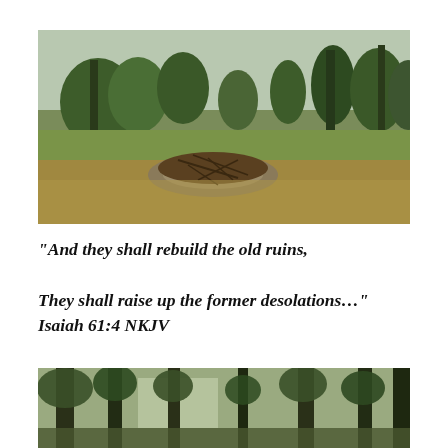[Figure (photo): Outdoor landscape photo showing an open grassy field with dry brown grass and bare/scraggly brush piled in the center foreground, with trees in the background under an overcast sky.]
“And they shall rebuild the old ruins,

They shall raise up the former desolations…”
Isaiah 61:4 NKJV
[Figure (photo): Outdoor photo showing a wooded area with large trees covered in vines, with glimpses of a structure or clearing visible in the background.]